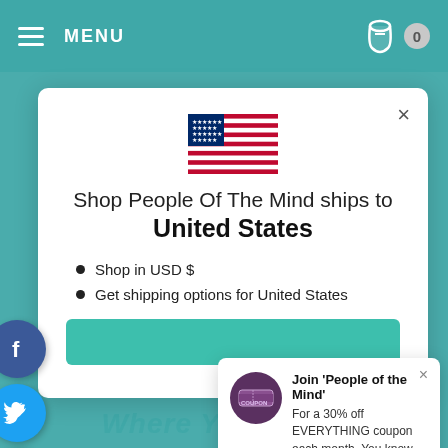MENU
[Figure (screenshot): US flag emoji/icon displayed in the modal]
Shop People Of The Mind ships to United States
Shop in USD $
Get shipping options for United States
[Figure (infographic): Social media icons (Facebook, Twitter, Pinterest, Instagram, LinkedIn) on the left side]
[Figure (infographic): Coupon popup with purple circle icon and text: Join 'People of the Mind' For a 30% off EVERYTHING coupon each month. You know you're gonna buy stuff. Why pay full price? Only for our Tribe.]
Join 'People of the Mind' For a 30% off EVERYTHING coupon each month. You know you're gonna buy stuff. Why pay full price? Only for our Tribe.